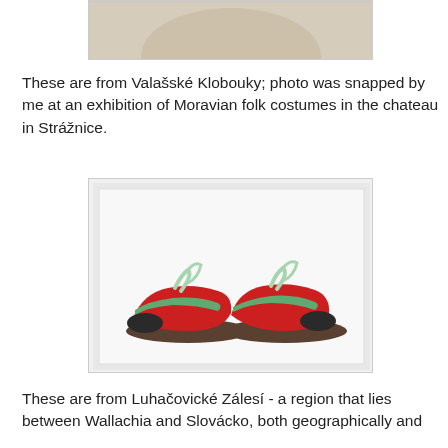[Figure (photo): Partial view of a wooden hat or round object, cropped at top of page]
These are from Valašské Klobouky; photo was snapped by me at an exhibition of Moravian folk costumes in the chateau in Strážnice.
[Figure (photo): Two red folk shoes with green trim and light green laces, dark toe caps and brown soles, displayed on a white card background]
These are from Luhačovické Zálesí - a region that lies between Wallachia and Slovácko, both geographically and